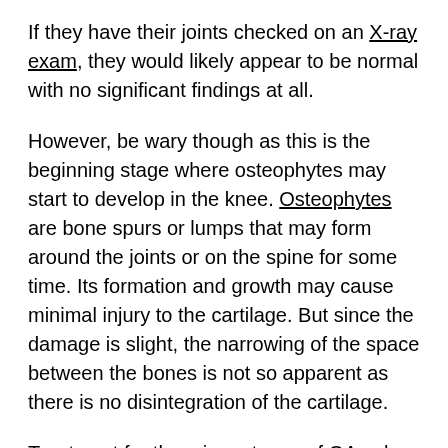If they have their joints checked on an X-ray exam, they would likely appear to be normal with no significant findings at all.
However, be wary though as this is the beginning stage where osteophytes may start to develop in the knee. Osteophytes are bone spurs or lumps that may form around the joints or on the spine for some time. Its formation and growth may cause minimal injury to the cartilage. But since the damage is slight, the narrowing of the space between the bones is not so apparent as there is no disintegration of the cartilage.
Treatment for the minor stages of OA only recommends patients to take special supplements. In most common cases, doctors generally advise maintaining a healthy lifestyle.